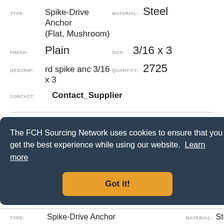TYPE: Spike-Drive Anchor (Flat, Mushroom)   MATERIAL: Steel
FINISH: Plain   SIZE: 3/16 x 3
DESCRIP: rd spike anc 3/16 x 3   QUANTITY: 2725
CONTACT: Contact_Supplier
SUPPLIER: Timberline   LOCATION: CO
TYPE: Spike-Drive Anchor (Flat, Mushroom)   MATERIAL: Steel
The FCH Sourcing Network uses cookies to ensure that you get the best experience while using our website. Learn more
Got it!
TYPE: Spike-Drive Anchor   MATERIAL: Steel